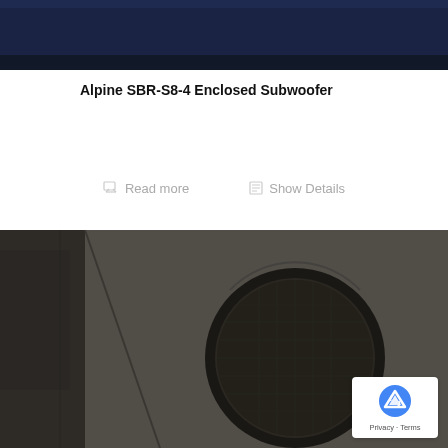[Figure (photo): Partial top view of a dark navy blue Alpine enclosed subwoofer box, cropped at the top of the page]
Alpine SBR-S8-4 Enclosed Subwoofer
Read more
Show Details
[Figure (photo): Close-up photo of an Alpine SBR-S8-4 enclosed subwoofer showing the carpet-wrapped enclosure and circular speaker grille with black surround]
[Figure (logo): Google reCAPTCHA badge with Privacy and Terms links]